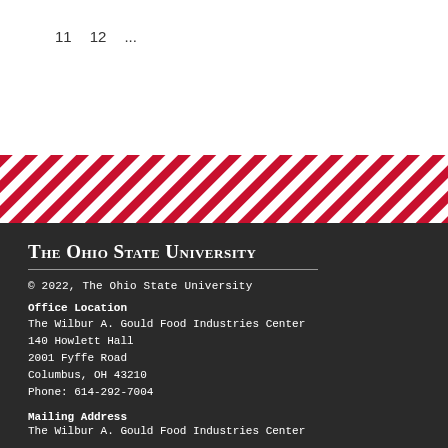11   12   ...
[Figure (illustration): Diagonal red and white stripe decorative band]
The Ohio State University
© 2022, The Ohio State University
Office Location
The Wilbur A. Gould Food Industries Center
140 Howlett Hall
2001 Fyffe Road
Columbus, OH 43210
Phone: 614-292-7004
Mailing Address
The Wilbur A. Gould Food Industries Center